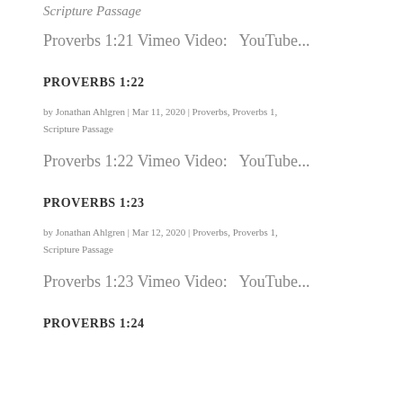Scripture Passage
Proverbs 1:21 Vimeo Video:   YouTube...
PROVERBS 1:22
by Jonathan Ahlgren | Mar 11, 2020 | Proverbs, Proverbs 1, Scripture Passage
Proverbs 1:22 Vimeo Video:   YouTube...
PROVERBS 1:23
by Jonathan Ahlgren | Mar 12, 2020 | Proverbs, Proverbs 1, Scripture Passage
Proverbs 1:23 Vimeo Video:   YouTube...
PROVERBS 1:24